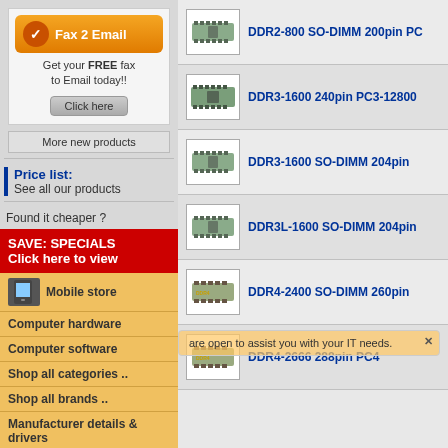[Figure (illustration): Fax 2 Email advertisement banner with orange background, checkmark icon, text 'Get your FREE fax to Email today!!' and Click here button]
More new products
Price list:
See all our products
Found it cheaper ?
SAVE: SPECIALS
Click here to view
Mobile store
Computer hardware
Computer software
Shop all categories ..
Shop all brands ..
Manufacturer details & drivers
[Figure (photo): RAM module - DDR2-800 SO-DIMM 200pin PC]
DDR2-800 SO-DIMM 200pin PC
[Figure (photo): RAM module - DDR3-1600 240pin PC3-12800]
DDR3-1600 240pin PC3-12800
[Figure (photo): RAM module - DDR3-1600 SO-DIMM 204pin]
DDR3-1600 SO-DIMM 204pin
[Figure (photo): RAM module - DDR3L-1600 SO-DIMM 204pin]
DDR3L-1600 SO-DIMM 204pin
[Figure (photo): RAM module - DDR4-2400 SO-DIMM 260pin]
DDR4-2400 SO-DIMM 260pin
[Figure (photo): RAM module - DDR4-2666 288pin PC4]
DDR4-2666 288pin PC4
are open to assist you with your IT needs.